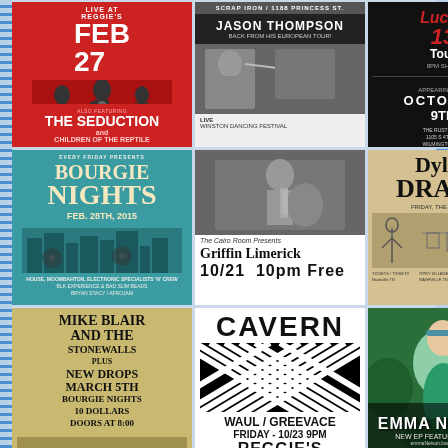[Figure (poster): Live at Reggie's Feb 27 concert poster with The Seduction and Children of the Reptile, red background with silhouette performers]
[Figure (poster): Jason Thompson Back From His European Tour, Live show poster, black and white photo]
[Figure (poster): Lucky 13 Tour, 8PM Show, Appearing Live October 9th, The Rusty Nail, Wilmington NC, dark background]
[Figure (poster): Bourgie Nights Feb. 28th 2015 event poster, teal/turquoise background with vintage cityscape]
[Figure (poster): The Cairo Room Presents Griffin Limerick 10/21 10pm Free, black and white photo of guitarist]
[Figure (poster): Dylan Drake concert poster, aged paper brown background with illustrated figures]
[Figure (poster): Mike Blair and the Stonewalls plus New Drops, March 5th, Bourgie Nights, 10 Dollars, Doors at 8:00, vintage gold/yellow poster]
[Figure (poster): Cavern, WAUL / Greevace, Friday - 10/23 9PM, Reggie's, black and white geometric diamond pattern]
[Figure (poster): Emma Nelson New EP featuring 'Siren', emmaNelson.bandcamp.com, mermaid costume photo]